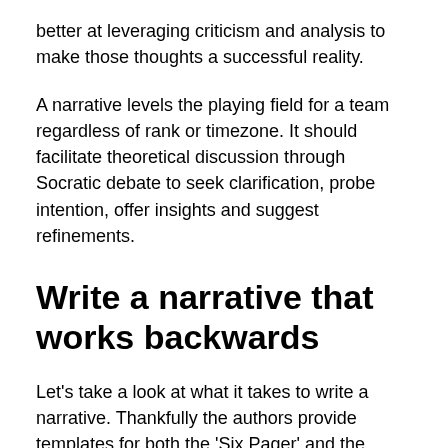better at leveraging criticism and analysis to make those thoughts a successful reality.
A narrative levels the playing field for a team regardless of rank or timezone. It should facilitate theoretical discussion through Socratic debate to seek clarification, probe intention, offer insights and suggest refinements.
Write a narrative that works backwards
Let's take a look at what it takes to write a narrative. Thankfully the authors provide templates for both the 'Six Pager' and the 'Press Release'. As previously mentioned, each is used to facilitate debate through the thoughtful description of ideas.